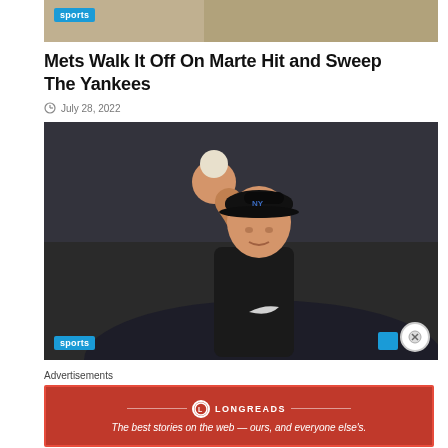[Figure (photo): Top cropped sports photo with 'sports' badge overlay]
Mets Walk It Off On Marte Hit and Sweep The Yankees
July 28, 2022
[Figure (photo): Baseball pitcher in black uniform and cap holding a ball aloft, with 'sports' badge and close/navigation buttons]
Advertisements
[Figure (other): Longreads advertisement banner: The best stories on the web — ours, and everyone else's.]